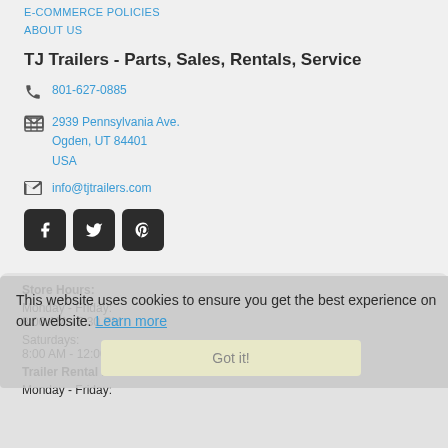E-COMMERCE POLICIES
ABOUT US
TJ Trailers - Parts, Sales, Rentals, Service
801-627-0885
2939 Pennsylvania Ave.
Ogden, UT 84401
USA
info@tjtrailers.com
[Figure (infographic): Social media buttons: Facebook, Twitter, Pinterest]
Store Hours:
Monday - Friday:
8:00 AM - 5:30 PM
Saturdays:
8:00 AM - 12:00 PM
Trailer Rental Hours:
Monday - Friday:
This website uses cookies to ensure you get the best experience on our website. Learn more
Got it!